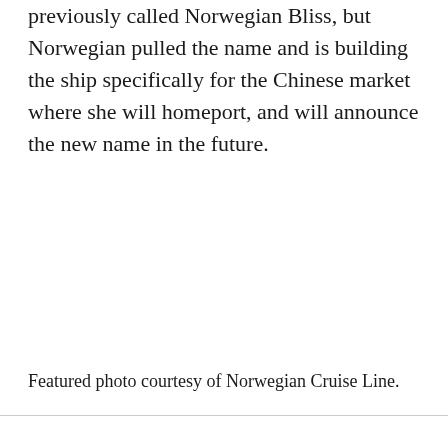previously called Norwegian Bliss, but Norwegian pulled the name and is building the ship specifically for the Chinese market where she will homeport, and will announce the new name in the future.
Featured photo courtesy of Norwegian Cruise Line.